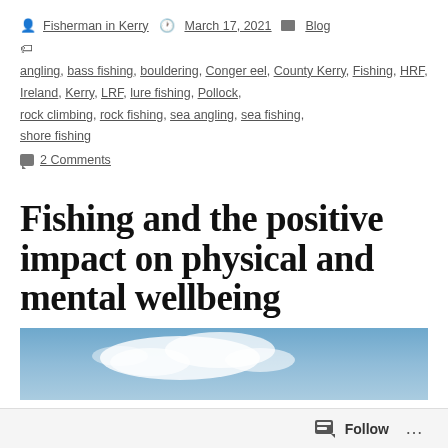Fisherman in Kerry   March 17, 2021   Blog
angling, bass fishing, bouldering, Conger eel, County Kerry, Fishing, HRF, Ireland, Kerry, LRF, lure fishing, Pollock, rock climbing, rock fishing, sea angling, sea fishing, shore fishing
2 Comments
Fishing and the positive impact on physical and mental wellbeing
[Figure (photo): Sky with clouds, blue sky background, partial view of an outdoor photo strip at bottom of page]